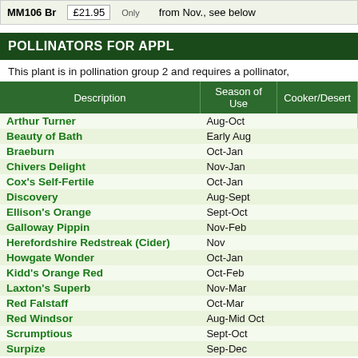|  |  |
| --- | --- |
| MM106 Br | £21.95 | Only | from Nov., see below |
POLLINATORS FOR APPL
This plant is in pollination group 2 and requires a pollinator,
| Description | Season of Use | Cooker/Desert |
| --- | --- | --- |
| Arthur Turner | Aug-Oct |  |
| Beauty of Bath | Early Aug |  |
| Braeburn | Oct-Jan |  |
| Chivers Delight | Nov-Jan |  |
| Cox's Self-Fertile | Oct-Jan |  |
| Discovery | Aug-Sept |  |
| Ellison's Orange | Sept-Oct |  |
| Galloway Pippin | Nov-Feb |  |
| Herefordshire Redstreak (Cider) | Nov |  |
| Howgate Wonder | Oct-Jan |  |
| Kidd's Orange Red | Oct-Feb |  |
| Laxton's Superb | Nov-Mar |  |
| Red Falstaff | Oct-Mar |  |
| Red Windsor | Aug-Mid Oct |  |
| Scrumptious | Sept-Oct |  |
| Surpize | Sep-Dec |  |